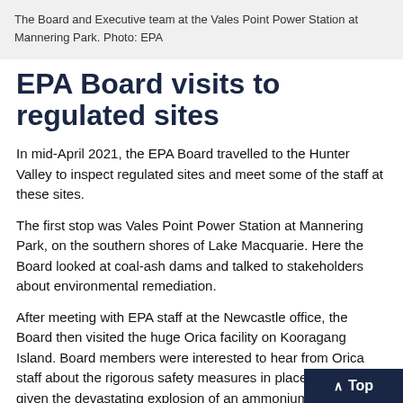The Board and Executive team at the Vales Point Power Station at Mannering Park. Photo: EPA
EPA Board visits to regulated sites
In mid-April 2021, the EPA Board travelled to the Hunter Valley to inspect regulated sites and meet some of the staff at these sites.
The first stop was Vales Point Power Station at Mannering Park, on the southern shores of Lake Macquarie. Here the Board looked at coal-ash dams and talked to stakeholders about environmental remediation.
After meeting with EPA staff at the Newcastle office, the Board then visited the huge Orica facility on Kooragang Island. Board members were interested to hear from Orica staff about the rigorous safety measures in place, particularly given the devastating explosion of an ammonium nitrate store in 2020 at the port of Beirut in Lebanon.